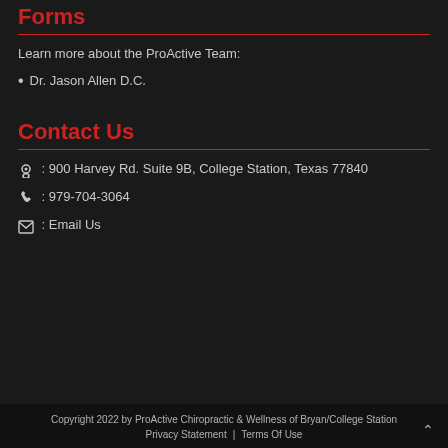Forms
Learn more about the ProActive Team:
Dr. Jason Allen D.C.
Contact Us
: 900 Harvey Rd. Suite 9B, College Station, Texas 77840
: 979-704-3064
: Email Us
Copyright 2022 by ProActive Chiropractic & Wellness of Bryan/College Station
Privacy Statement | Terms Of Use